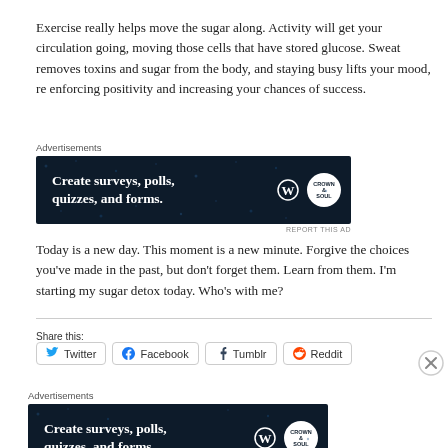Exercise really helps move the sugar along. Activity will get your circulation going, moving those cells that have stored glucose. Sweat removes toxins and sugar from the body, and staying busy lifts your mood, re enforcing positivity and increasing your chances of success.
[Figure (screenshot): Advertisement banner: dark navy background with white bold text 'Create surveys, polls, quizzes, and forms.' with WordPress and Crown & Soul logos on right side.]
Today is a new day. This moment is a new minute. Forgive the choices you've made in the past, but don't forget them. Learn from them. I'm starting my sugar detox today. Who's with me?
Share this:
[Figure (screenshot): Social share buttons: Twitter, Facebook, Tumblr, Reddit]
[Figure (screenshot): Second advertisement banner: dark navy background with white bold text 'Create surveys, polls, quizzes, and forms.' with WordPress and Crown & Soul logos on right side.]